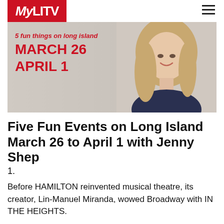[Figure (screenshot): MyLITV website header with red logo box showing MyLiTV in white text, hamburger menu icon, and a video thumbnail showing dates March 26 - April 1 in red bold text with a woman smiling on the right side and a play button overlay]
Five Fun Events on Long Island March 26 to April 1 with Jenny Shep
1.
Before HAMILTON reinvented musical theatre, its creator, Lin-Manuel Miranda, wowed Broadway with IN THE HEIGHTS.